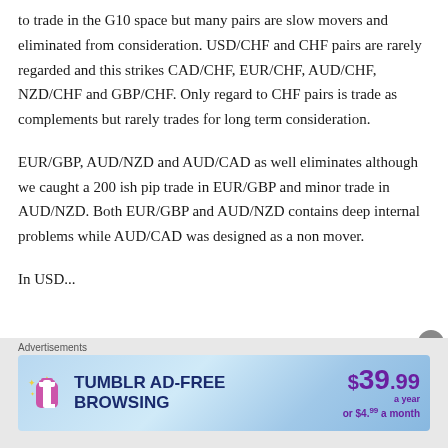to trade in the G10 space but many pairs are slow movers and eliminated from consideration. USD/CHF and CHF pairs are rarely regarded and this strikes CAD/CHF, EUR/CHF, AUD/CHF, NZD/CHF and GBP/CHF. Only regard to CHF pairs is trade as complements but rarely trades for long term consideration.
EUR/GBP, AUD/NZD and AUD/CAD as well eliminates although we caught a 200 ish pip trade in EUR/GBP and minor trade in AUD/NZD. Both EUR/GBP and AUD/NZD contains deep internal problems while AUD/CAD was designed as a non mover.
In USD...
[Figure (infographic): Tumblr Ad-Free Browsing advertisement banner. Shows Tumblr logo, text 'TUMBLR AD-FREE BROWSING', price $39.99 a year or $4.99 a month in purple.]